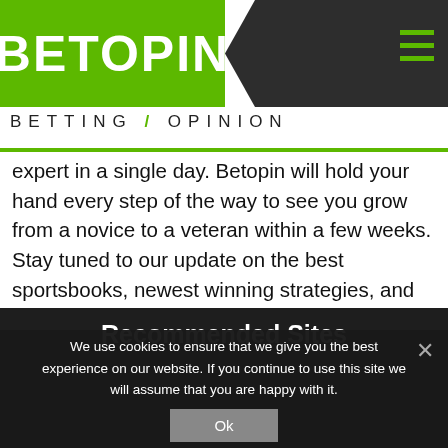[Figure (logo): Betopin logo with green speech bubble box containing white BETOPIN text, dark chevron right section, and BETTING / OPINION subtitle below]
expert in a single day. Betopin will hold your hand every step of the way to see you grow from a novice to a veteran within a few weeks. Stay tuned to our update on the best sportsbooks, newest winning strategies, and new types of NHL bets in the market that can help you win big money.
Recommended Sites
We use cookies to ensure that we give you the best experience on our website. If you continue to use this site we will assume that you are happy with it.